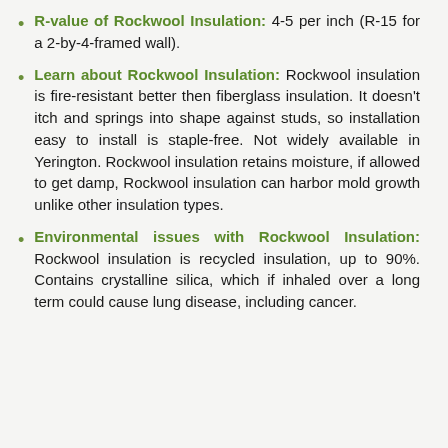R-value of Rockwool Insulation: 4-5 per inch (R-15 for a 2-by-4-framed wall).
Learn about Rockwool Insulation: Rockwool insulation is fire-resistant better then fiberglass insulation. It doesn't itch and springs into shape against studs, so installation easy to install is staple-free. Not widely available in Yerington. Rockwool insulation retains moisture, if allowed to get damp, Rockwool insulation can harbor mold growth unlike other insulation types.
Environmental issues with Rockwool Insulation: Rockwool insulation is recycled insulation, up to 90%. Contains crystalline silica, which if inhaled over a long term could cause lung disease, including cancer.